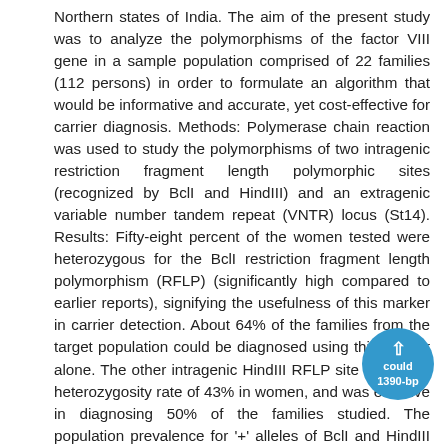Northern states of India. The aim of the present study was to analyze the polymorphisms of the factor VIII gene in a sample population comprised of 22 families (112 persons) in order to formulate an algorithm that would be informative and accurate, yet cost-effective for carrier diagnosis. Methods: Polymerase chain reaction was used to study the polymorphisms of two intragenic restriction fragment length polymorphic sites (recognized by BclI and HindIII) and an extragenic variable number tandem repeat (VNTR) locus (St14). Results: Fifty-eight percent of the women tested were heterozygous for the BclI restriction fragment length polymorphism (RFLP) (significantly high compared to earlier reports), signifying the usefulness of this marker in carrier detection. About 64% of the families from the target population could be diagnosed using this marker alone. The other intragenic HindIII RFLP site showed a heterozygosity rate of 43% in women, and was effective in diagnosing 50% of the families studied. The population prevalence for '+' alleles of BclI and HindIII were 68% and 33%, respectively. About 88% of the women tested were heterozygous for the St14 locus, and 83% of the families could be diagnosed using this marker alone. The 1390- and 1390-bp alleles were most prevalent, while novel polymorphisms of 1500 and 1345 bp were detected. Conclusions: Based on the above